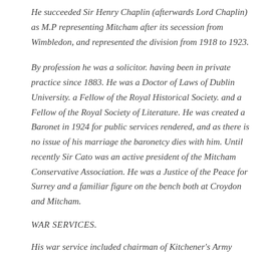He succeeded Sir Henry Chaplin (afterwards Lord Chaplin) as M.P representing Mitcham after its secession from Wimbledon, and represented the division from 1918 to 1923.
By profession he was a solicitor. having been in private practice since 1883. He was a Doctor of Laws of Dublin University. a Fellow of the Royal Historical Society. and a Fellow of the Royal Society of Literature. He was created a Baronet in 1924 for public services rendered, and as there is no issue of his marriage the baronetcy dies with him. Until recently Sir Cato was an active president of the Mitcham Conservative Association. He was a Justice of the Peace for Surrey and a familiar figure on the bench both at Croydon and Mitcham.
WAR SERVICES.
His war service included chairman of Kitchener's Army